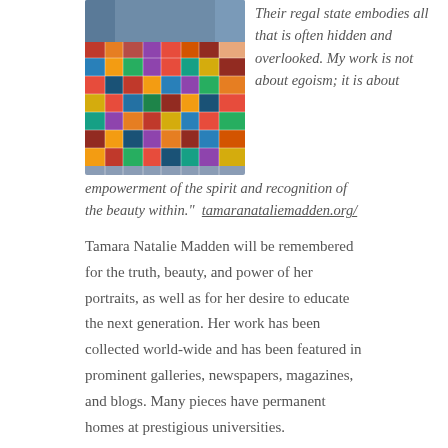[Figure (photo): A colorful patchwork quilt draped over a figure, showing vibrant multi-colored fabric squares in reds, blues, yellows, and other colors.]
Their regal state embodies all that is often hidden and overlooked. My work is not about egoism; it is about empowerment of the spirit and recognition of the beauty within."  tamaranataliemadden.org/
Tamara Natalie Madden will be remembered for the truth, beauty, and power of her portraits, as well as for her desire to educate the next generation. Her work has been collected world-wide and has been featured in prominent galleries, newspapers, magazines, and blogs. Many pieces have permanent homes at prestigious universities.